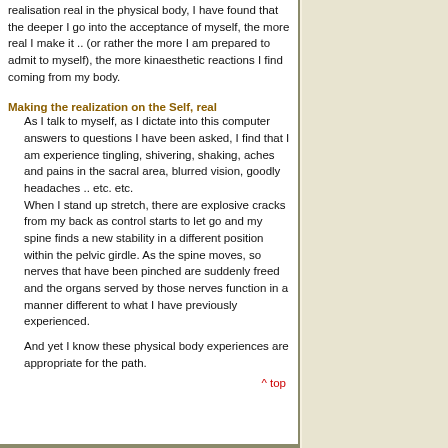realisation real in the physical body, I have found that the deeper I go into the acceptance of myself, the more real I make it .. (or rather the more I am prepared to admit to myself), the more kinaesthetic reactions I find coming from my body.
Making the realization on the Self, real
As I talk to myself, as I dictate into this computer answers to questions I have been asked, I find that I am experience tingling, shivering, shaking, aches and pains in the sacral area, blurred vision, goodly headaches .. etc. etc.
When I stand up stretch, there are explosive cracks from my back as control starts to let go and my spine finds a new stability in a different position within the pelvic girdle. As the spine moves, so nerves that have been pinched are suddenly freed and the organs served by those nerves function in a manner different to what I have previously experienced.
And yet I know these physical body experiences are appropriate for the path.
^ top